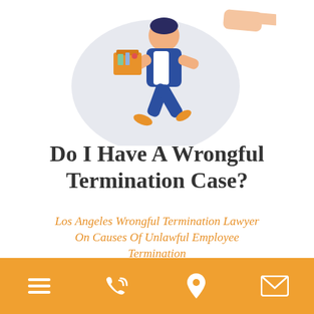[Figure (illustration): Illustration of a person running while carrying a box of belongings, being pointed at by a large hand — symbolizing wrongful termination. Background is a light grey blob shape.]
Do I Have A Wrongful Termination Case?
Los Angeles Wrongful Termination Lawyer On Causes Of Unlawful Employee Termination
[Figure (infographic): Orange footer bar with four icons: hamburger menu, phone/call icon, location pin, and envelope/mail icon.]